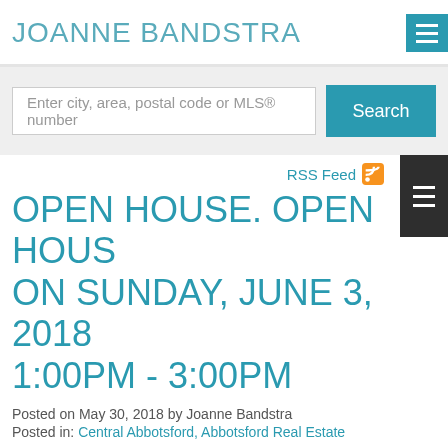JOANNE BANDSTRA
Enter city, area, postal code or MLS® number
Search
RSS Feed
OPEN HOUSE. OPEN HOUSE ON SUNDAY, JUNE 3, 2018 1:00PM - 3:00PM
Posted on May 30, 2018 by Joanne Bandstra
Posted in: Central Abbotsford, Abbotsford Real Estate
[Figure (photo): Open house badge/icon with green diagonal banner and camera icon, partially visible at bottom of page]